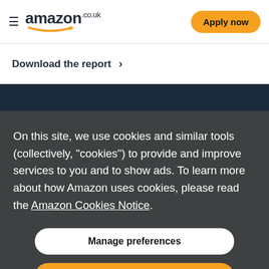amazon.co.uk   Apply now
Download the report →
On this site, we use cookies and similar tools (collectively, "cookies") to provide and improve services to you and to show ads. To learn more about how Amazon uses cookies, please read the Amazon Cookies Notice.
Manage preferences
Accept all cookies